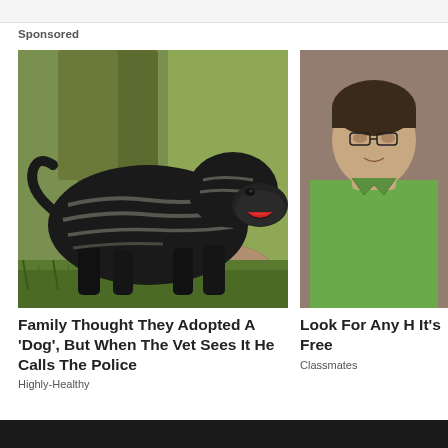Sponsored
[Figure (photo): Large black striped dog (Cane Corso) with mouth open standing in a grassy outdoor area with a tree and rock in the background]
Family Thought They Adopted A 'Dog', But When The Vet Sees It He Calls The Police
Highly-Healthy
[Figure (photo): Person wearing a green shirt, partially cropped on the right side]
Look For Any H It's Free
Classmates